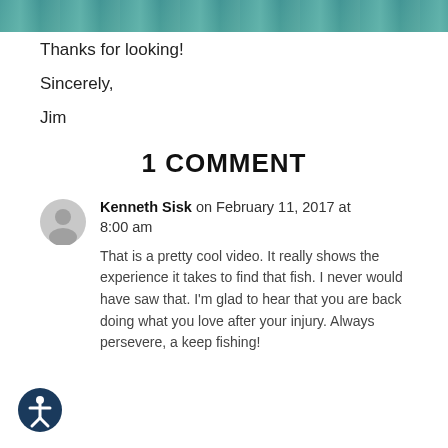[Figure (photo): Top strip of an underwater or fishing-themed image showing teal/green water]
Thanks for looking!
Sincerely,
Jim
1 COMMENT
Kenneth Sisk on February 11, 2017 at 8:00 am
That is a pretty cool video. It really shows the experience it takes to find that fish. I never would have saw that. I'm glad to hear that you are back doing what you love after your injury. Always persevere, a keep fishing!